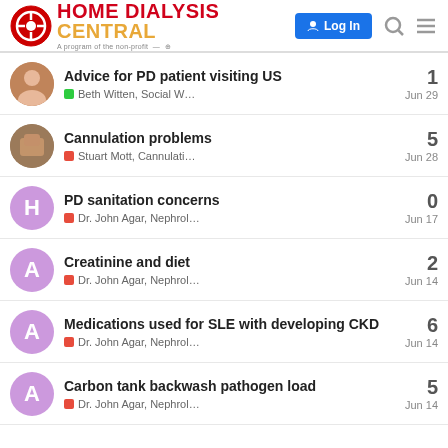[Figure (screenshot): Home Dialysis Central website header with logo, Log In button, search icon, and hamburger menu]
Advice for PD patient visiting US | Beth Witten, Social W... | Jun 29 | 1 reply
Cannulation problems | Stuart Mott, Cannulati... | Jun 28 | 5 replies
PD sanitation concerns | Dr. John Agar, Nephrol... | Jun 17 | 0 replies
Creatinine and diet | Dr. John Agar, Nephrol... | Jun 14 | 2 replies
Medications used for SLE with developing CKD | Dr. John Agar, Nephrol... | Jun 14 | 6 replies
Carbon tank backwash pathogen load | Dr. John Agar, Nephrol... | Jun 14 | 5 replies